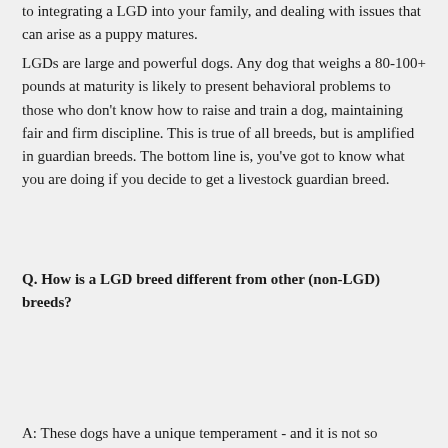to integrating a LGD into your family, and dealing with issues that can arise as a puppy matures.
LGDs are large and powerful dogs. Any dog that weighs a 80-100+ pounds at maturity is likely to present behavioral problems to those who don't know how to raise and train a dog, maintaining fair and firm discipline. This is true of all breeds, but is amplified in guardian breeds. The bottom line is, you've got to know what you are doing if you decide to get a livestock guardian breed.
Q. How is a LGD breed different from other (non-LGD) breeds?
A: These dogs have a unique temperament - and it is not so